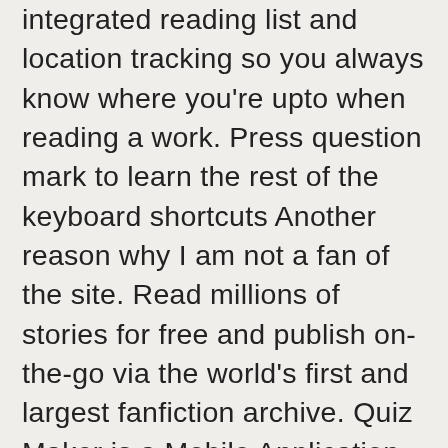integrated reading list and location tracking so you always know where you're upto when reading a work. Press question mark to learn the rest of the keyboard shortcuts Another reason why I am not a fan of the site. Read millions of stories for free and publish on-the-go via the world's first and largest fanfiction archive. Quiz Maker is a Mobile Application that allows you to play, create and share quizzes in a simple and intuitive way. Hi! Download this app from Microsoft Store for Windows 10 Mobile, Windows Phone 8.1, Windows Phone 8. Read hot and popular stories about ao3 on Wattpad. Ao3 and ffan do let you download stories into mobile formats (for reading on kindles, for example). Fluff the Fanfiction Reader is an unofficial app for the Archive of Our Own (AO3) fanfiction & transformative works archive, with 5 million+ stories. The site was created in 2008 by the Organization for Transformative Works and went into open beta in 2009. open Safari on your iPhone and go to the AO3.